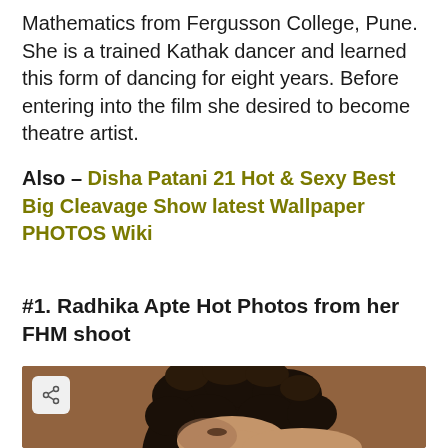Mathematics from Fergusson College, Pune. She is a trained Kathak dancer and learned this form of dancing for eight years. Before entering into the film she desired to become theatre artist.
Also – Disha Patani 21 Hot & Sexy Best Big Cleavage Show latest Wallpaper PHOTOS Wiki
#1. Radhika Apte Hot Photos from her FHM shoot
[Figure (photo): Photo of a woman with dark curly hair pulled up, against a warm brown/terracotta background. Only the top of her head and partial face visible. A share button icon is in the top-left corner of the image.]